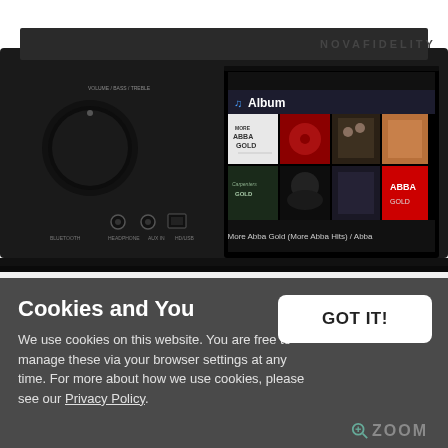[Figure (photo): Photo of a black hi-fi audio streamer/amplifier device (NOVAFIDELITY branded) with a large volume knob on the left and a color display screen on the right showing an Album browser with ABBA album covers. The screen shows 'Album' header and 'More Abba Gold (More Abba Hits) / Abba' at the bottom.]
Cookies and You
We use cookies on this website. You are free to manage these via your browser settings at any time. For more about how we use cookies, please see our Privacy Policy.
GOT IT!
🔍 ZOOM